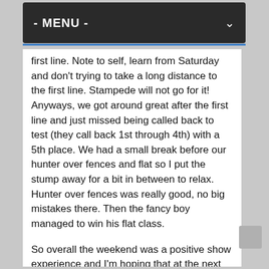- MENU -
first line. Note to self, learn from Saturday and don't trying to take a long distance to the first line. Stampede will not go for it! Anyways, we got around great after the first line and just missed being called back to test (they call back 1st through 4th) with a 5th place. We had a small break before our hunter over fences and flat so I put the stump away for a bit in between to relax. Hunter over fences was really good, no big mistakes there. Then the fancy boy managed to win his flat class.
So overall the weekend was a positive show experience and I'm hoping that at the next show I can start trusting him sooner and really show what he can do. Next show is two weeks from today!
While the photographer was out, I asked her to take some pictures of me and P. I shouldn't have worn my jacket as I don't think it's flattering, but I picked one that I really liked